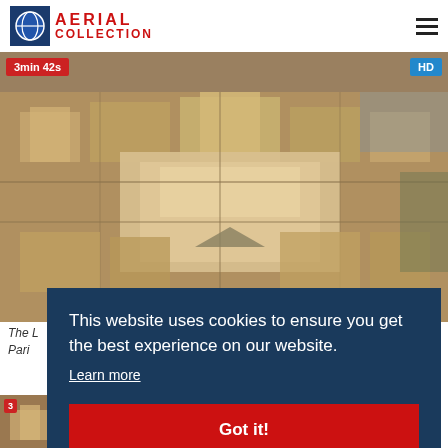AERIAL COLLECTION
[Figure (photo): Aerial view of Paris city center, showing dense Haussmann-style buildings, a large palace/museum complex, and the Seine river]
The [Louvre] Paris [...]
[Figure (photo): Second aerial thumbnail of a Paris landmark]
This website uses cookies to ensure you get the best experience on our website. Learn more
Got it!